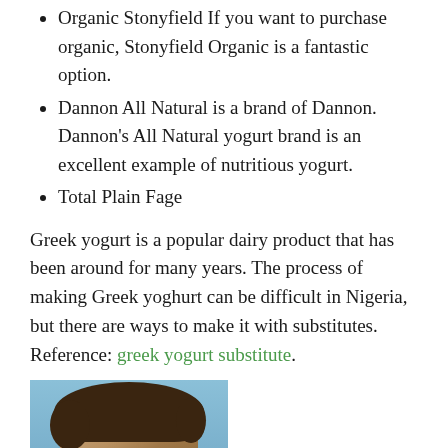Organic Stonyfield If you want to purchase organic, Stonyfield Organic is a fantastic option.
Dannon All Natural is a brand of Dannon. Dannon's All Natural yogurt brand is an excellent example of nutritious yogurt.
Total Plain Fage
Greek yogurt is a popular dairy product that has been around for many years. The process of making Greek yoghurt can be difficult in Nigeria, but there are ways to make it with substitutes. Reference: greek yogurt substitute.
[Figure (photo): A man with dark curly hair and sunglasses wearing a red shirt, photographed outdoors with a blue sky background.]